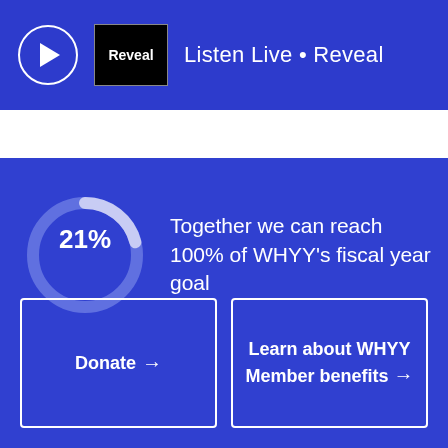Listen Live • Reveal
[Figure (donut-chart): WHYY Fiscal Year Goal Progress]
Together we can reach 100% of WHYY's fiscal year goal
Donate →
Learn about WHYY Member benefits →